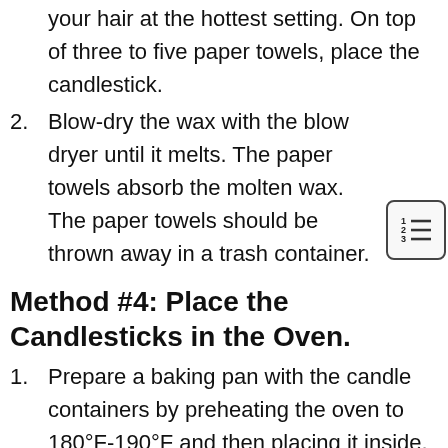your hair at the hottest setting. On top of three to five paper towels, place the candlestick.
2. Blow-dry the wax with the blow dryer until it melts. The paper towels absorb the molten wax. The paper towels should be thrown away in a trash container.
Method #4: Place the Candlesticks in the Oven.
1. Prepare a baking pan with the candle containers by preheating the oven to 180°F-190°F and then placing it inside.